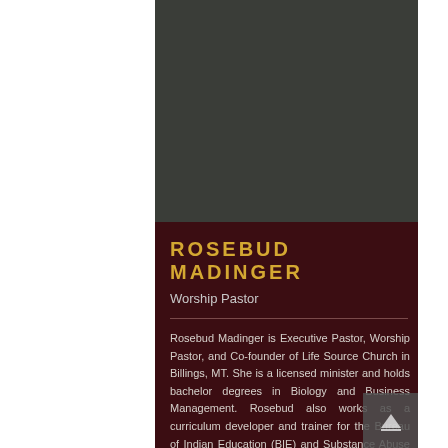[Figure (photo): Dark gray rectangular photo placeholder area for Rosebud Madinger]
ROSEBUD MADINGER
Worship Pastor
Rosebud Madinger is Executive Pastor, Worship Pastor, and Co-founder of Life Source Church in Billings, MT. She is a licensed minister and holds bachelor degrees in Biology and Business Management. Rosebud also works as a curriculum developer and trainer for the Bureau of Indian Education (BIE) and Substance Abuse and Mental Health Services Administration (SAMHSA). Her and her husband, Abe, have a